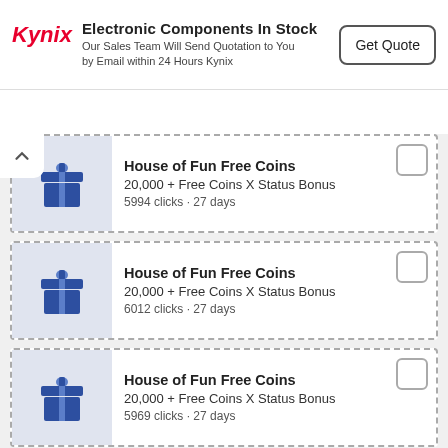[Figure (screenshot): Kynix advertisement banner with logo, text 'Electronic Components In Stock', subtitle 'Our Sales Team Will Send Quotation to You by Email within 24 Hours Kynix', and a 'Get Quote' button]
House of Fun Free Coins
20,000 + Free Coins X Status Bonus
5994 clicks · 27 days
House of Fun Free Coins
20,000 + Free Coins X Status Bonus
6012 clicks · 27 days
House of Fun Free Coins
20,000 + Free Coins X Status Bonus
5969 clicks · 27 days